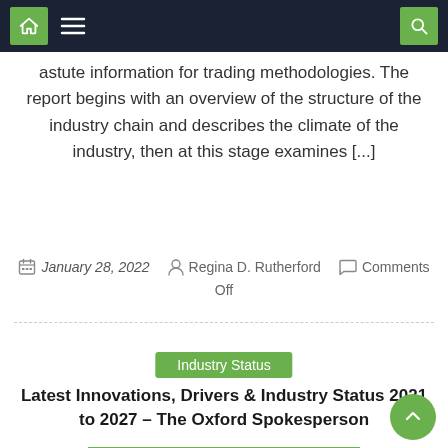Navigation bar with home, menu, and search icons
astute information for trading methodologies. The report begins with an overview of the structure of the industry chain and describes the climate of the industry, then at this stage examines [...]
January 28, 2022   Regina D. Rutherford   Comments Off
Industry Status
Latest Innovations, Drivers & Industry Status 2021 to 2027 – The Oxford Spokesperson
The Market Research Place published a report on GH telehandler market is a professional and in-depth research